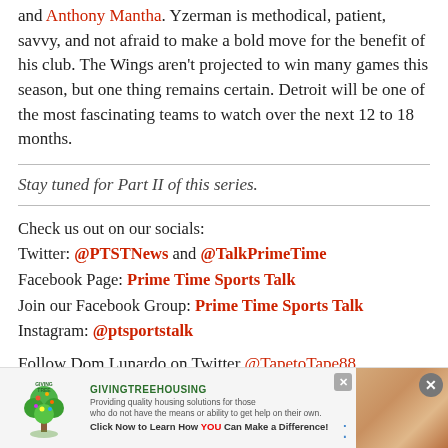and Anthony Mantha. Yzerman is methodical, patient, savvy, and not afraid to make a bold move for the benefit of his club. The Wings aren't projected to win many games this season, but one thing remains certain. Detroit will be one of the most fascinating teams to watch over the next 12 to 18 months.
Stay tuned for Part II of this series.
Check us out on our socials:
Twitter: @PTSTNews and @TalkPrimeTime
Facebook Page: Prime Time Sports Talk
Join our Facebook Group: Prime Time Sports Talk
Instagram: @ptsportstalk
Follow Dom Lunardo on Twitter @TapetoTape88
[Figure (other): Advertisement banner for Giving Tree Housing at the bottom of the page]